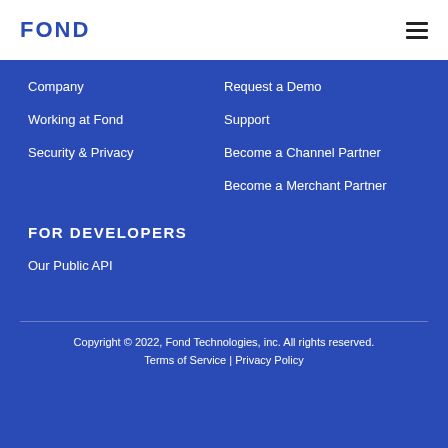FOND
Company
Working at Fond
Security & Privacy
Request a Demo
Support
Become a Channel Partner
Become a Merchant Partner
FOR DEVELOPERS
Our Public API
Copyright © 2022, Fond Technologies, inc. All rights reserved. Terms of Service | Privacy Policy